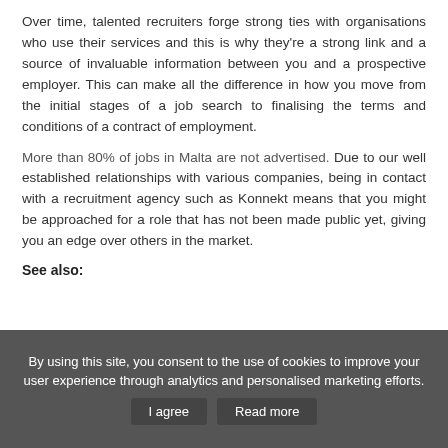Over time, talented recruiters forge strong ties with organisations who use their services and this is why they're a strong link and a source of invaluable information between you and a prospective employer. This can make all the difference in how you move from the initial stages of a job search to finalising the terms and conditions of a contract of employment.
More than 80% of jobs in Malta are not advertised. Due to our well established relationships with various companies, being in contact with a recruitment agency such as Konnekt means that you might be approached for a role that has not been made public yet, giving you an edge over others in the market.
See also:
By using this site, you consent to the use of cookies to improve your user experience through analytics and personalised marketing efforts.  I agree  Read more